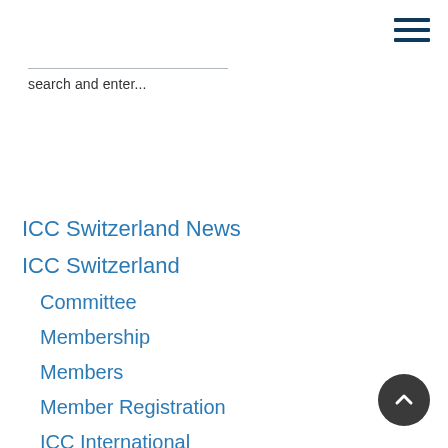[Figure (other): Hamburger menu icon (three horizontal dark blue lines)]
search and enter...
ICC Switzerland News
ICC Switzerland
Committee
Membership
Members
Member Registration
ICC International
[Figure (other): Scroll-to-top button: dark circular button with upward chevron arrow]